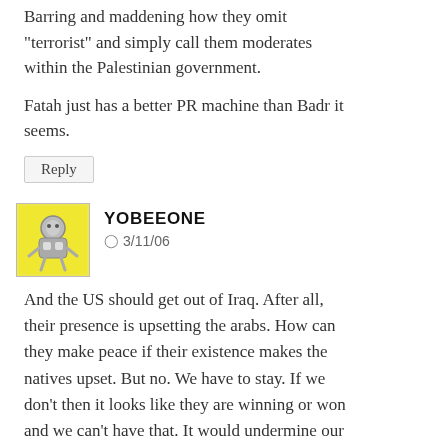Barring and maddening how they omit "terrorist" and simply call them moderates within the Palestinian government.
Fatah just has a better PR machine than Badr it seems.
Reply
YOBEEONE
3/11/06
And the US should get out of Iraq. After all, their presence is upsetting the arabs. How can they make peace if their existence makes the natives upset. But no. We have to stay. If we don't then it looks like they are winning or won and we can't have that. It would undermine our "fight against" terrorism. It would make us look weak.
And because we (the US) wants to dominate the world, we can't have other countries standing up for themselves, and if they do - we'll put a